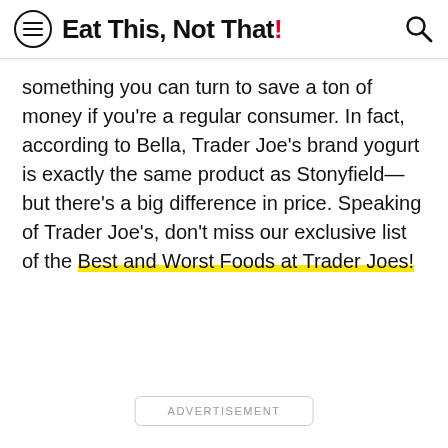Eat This, Not That!
something you can turn to save a ton of money if you're a regular consumer. In fact, according to Bella, Trader Joe's brand yogurt is exactly the same product as Stonyfield—but there's a big difference in price. Speaking of Trader Joe's, don't miss our exclusive list of the Best and Worst Foods at Trader Joes!
ADVERTISEMENT